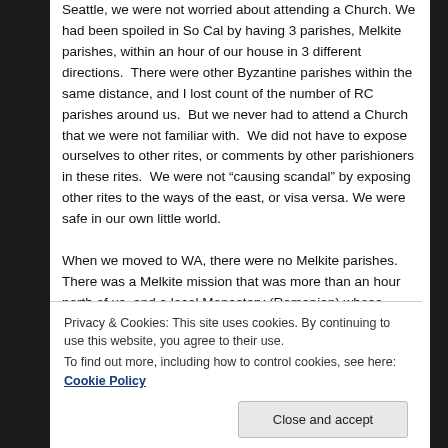Seattle, we were not worried about attending a Church. We had been spoiled in So Cal by having 3 parishes, Melkite parishes, within an hour of our house in 3 different directions. There were other Byzantine parishes within the same distance, and I lost count of the number of RC parishes around us. But we never had to attend a Church that we were not familiar with. We did not have to expose ourselves to other rites, or comments by other parishioners in these rites. We were not “causing scandal” by exposing other rites to the ways of the east, or visa versa. We were safe in our own little world.

When we moved to WA, there were no Melkite parishes. There was a Melkite mission that was more than an hour north of us, and a local Monastery (Romanian) whose
Privacy & Cookies: This site uses cookies. By continuing to use this website, you agree to their use.
To find out more, including how to control cookies, see here: Cookie Policy